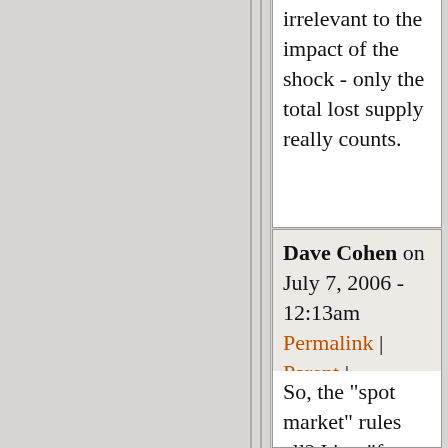irrelevant to the impact of the shock - only the total lost supply really counts.
Dave Cohen on July 7, 2006 - 12:13am Permalink | Parent | Comments top
So, the "spot market" rules all? It's a "free for all"? What would that do to prices? And then how would that affect the network as I've defined it?
Of course only the total lost supply really counts. How